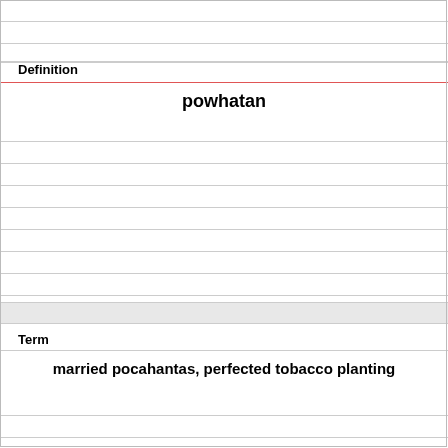Definition
powhatan
Term
married pocahantas, perfected tobacco planting